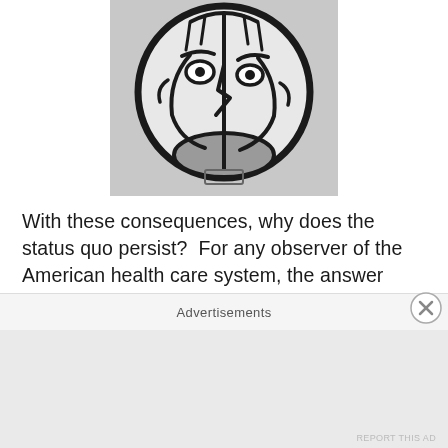[Figure (illustration): Black and white photograph of a Picasso-style ceramic plate or artwork depicting a stylized face with two eyes, a nose, and cubist/abstract features, viewed from the front. The face is drawn with bold black lines on a white/light background, circular in form.]
With these consequences, why does the status quo persist?  For any observer of the American health care system, the answer seems clear:  vested interests, institutional inertia, a clear lack of creative thought.  To make matters worse, none of the examples described above constitute malpractice: they are, rather, the
Advertisements